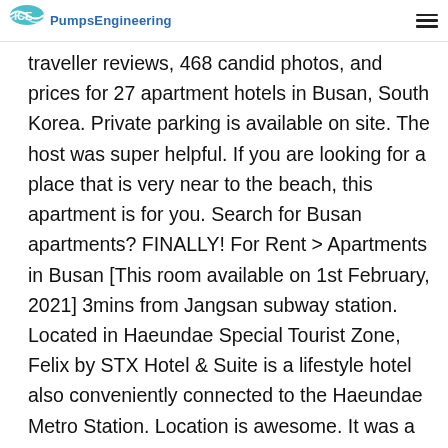PumpsEngineering
traveller reviews, 468 candid photos, and prices for 27 apartment hotels in Busan, South Korea. Private parking is available on site. The host was super helpful. If you are looking for a place that is very near to the beach, this apartment is for you. Search for Busan apartments? FINALLY! For Rent > Apartments in Busan [This room available on 1st February, 2021] 3mins from Jangsan subway station. Located in Haeundae Special Tourist Zone, Felix by STX Hotel & Suite is a lifestyle hotel also conveniently connected to the Haeundae Metro Station. Location is awesome. It was a perfect for us. The location is very close to most of touristics main populars places. The owner was extremely helpful and kind. View Tripadvisor's 1 unbiased reviews and